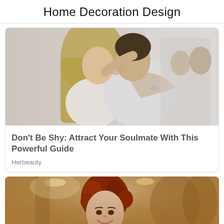Home Decoration Design
[Figure (photo): A couple kissing closely, woman with long blonde hair in white top, man in white t-shirt; their reflection visible in a mirror in the background]
Don't Be Shy: Attract Your Soulmate With This Powerful Guide
Herbeauty
[Figure (photo): A smiling young woman with curly red hair wearing a diamond necklace and sparkly dark dress, in a warmly lit interior setting]